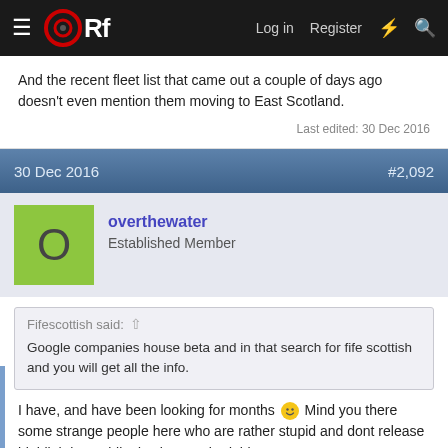ORf — Log in  Register
And the recent fleet list that came out a couple of days ago doesn't even mention them moving to East Scotland.
Last edited: 30 Dec 2016
30 Dec 2016  #2,092
overthewater
Established Member
Fifescottish said: ↑
Google companies house beta and in that search for fife scottish and you will get all the info.
I have, and have been looking for months 🙂 Mind you there some strange people here who are rather stupid and dont release highlighting public doc is not a bad thing.
I'm sure the accounts used to be 31 December up until last year